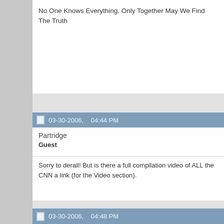No One Knows Everything. Only Together May We Find The Truth
03-30-2006,   04:44 PM
Partridge
Guest
Sorry to derail! But is there a full compilation video of ALL the CNN a link (for the Video section).
03-30-2006,   04:48 PM
Gold9472
Tired...
Originally Posted by Partridge